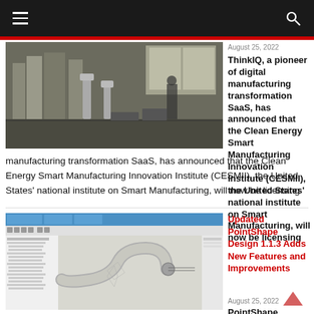Navigation bar with hamburger menu and search icon
[Figure (photo): Industrial manufacturing floor with robotic arms and equipment, workers visible in background]
August 25, 2022
ThinkIQ, a pioneer of digital manufacturing transformation SaaS, has announced that the Clean Energy Smart Manufacturing Innovation Institute (CESMII), the United States' national institute on Smart Manufacturing, will now be licensing
[Figure (screenshot): PointShape Design software interface showing parametric CAD model of a curved tube/pipe shape with tree panel on left]
Updated PointShape Design 1.1.3 Adds New Features and Improvements
August 25, 2022
PointShape Design is a reverse engineering software that creates parametric CAD models from scan data. The software offers a familiar design process and user interface so that users can easily